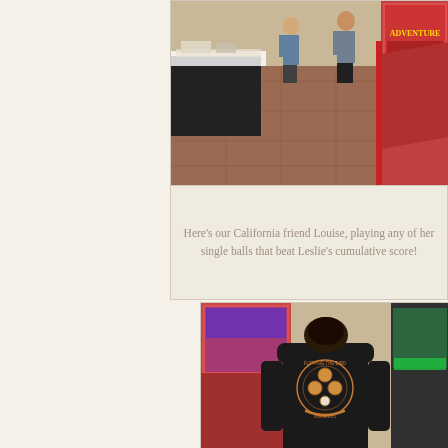[Figure (photo): Indoor pinball arcade scene with people playing pinball machines. A table with black tablecloth visible on the left, pinball machines on the right with colorful artwork including what appears to an 'Adventure' themed machine. People visible in the background on a red/brown tile floor.]
Here's our California friend Louise, playing any of her single balls that beat Leslie's cumulative score!
[Figure (photo): Person seen from behind standing between pinball machines in an arcade. The person is wearing a black t-shirt that reads 'FLIPPING THE BIRD SINCE 2011' with a pinball-themed graphic design on the back showing pinballs and flippers.]